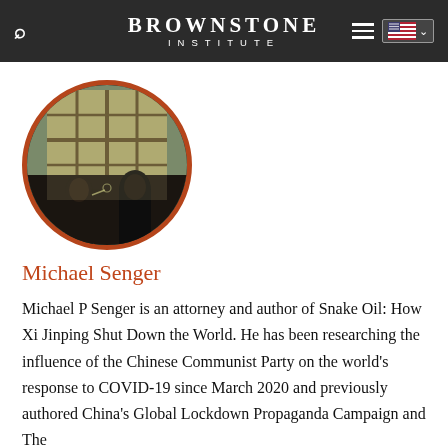BROWNSTONE INSTITUTE
[Figure (photo): Circular profile photo of two men in suits toasting with wine glasses near large windows, framed with a dark orange/brown circular border]
Michael Senger
Michael P Senger is an attorney and author of Snake Oil: How Xi Jinping Shut Down the World. He has been researching the influence of the Chinese Communist Party on the world's response to COVID-19 since March 2020 and previously authored China's Global Lockdown Propaganda Campaign and The